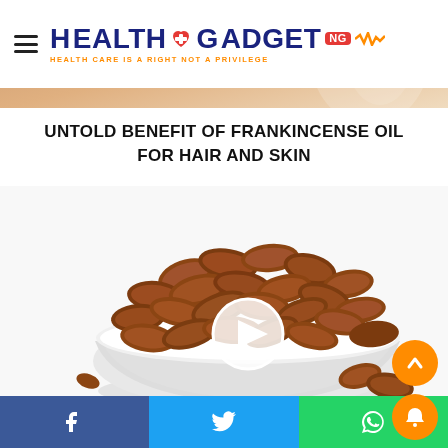Health Gadget NG — HEALTH CARE IS A RIGHT NOT A PRIVILEGE
[Figure (photo): Hero background image with warm brown/cream tones]
UNTOLD BENEFIT OF FRANKINCENSE OIL FOR HAIR AND SKIN
[Figure (photo): Bowl of almond nuts on white background with a play button overlay]
BAD EFFECTS OF EATING TOO MANY ALMOND NUTS
Facebook | Twitter | WhatsApp share bar